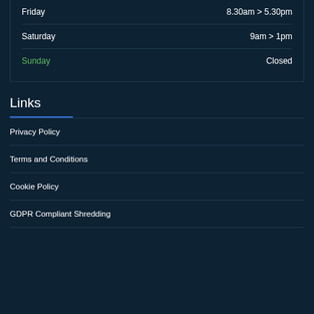| Day | Hours |
| --- | --- |
| Friday | 8.30am > 5.30pm |
| Saturday | 9am > 1pm |
| Sunday | Closed |
Links
Privacy Policy
Terms and Conditions
Cookie Policy
GDPR Compliant Shredding